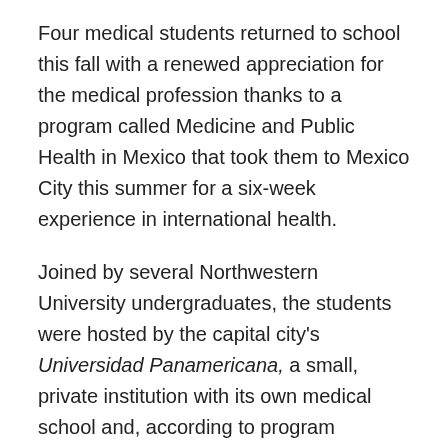Four medical students returned to school this fall with a renewed appreciation for the medical profession thanks to a program called Medicine and Public Health in Mexico that took them to Mexico City this summer for a six-week experience in international health.
Joined by several Northwestern University undergraduates, the students were hosted by the capital city's Universidad Panamericana, a small, private institution with its own medical school and, according to program organizer Dévora Grynspan, PhD, assistant dean of international and area studies in the Judd A. and Marjorie Weinberg College of Arts